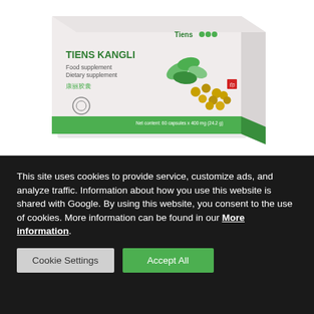[Figure (photo): Product box of TIENS KANGLI food supplement / dietary supplement. White box with green branding, showing green leaves and soybeans/seeds. Text on box: Tiens logo, TIENS KANGLI, Food supplement, Dietary supplement, Chinese characters 康丽胶囊, net content: 60 capsules x 400 mg (24.2g). Green stripe at bottom.]
This site uses cookies to provide service, customize ads, and analyze traffic. Information about how you use this website is shared with Google. By using this website, you consent to the use of cookies. More information can be found in our More information.
Cookie Settings
Accept All